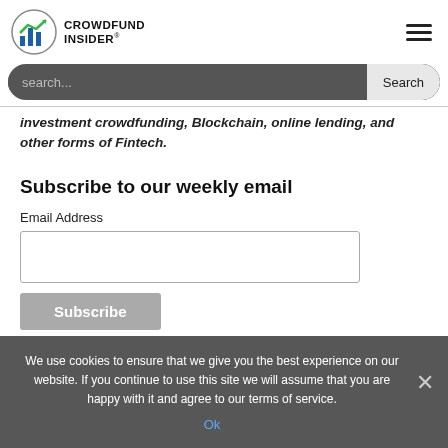[Figure (logo): Crowdfund Insider logo with bar chart icon]
investment crowdfunding, Blockchain, online lending, and other forms of Fintech.
Subscribe to our weekly email
Email Address
Subscribe
We use cookies to ensure that we give you the best experience on our website. If you continue to use this site we will assume that you are happy with it and agree to our terms of service.
Ok